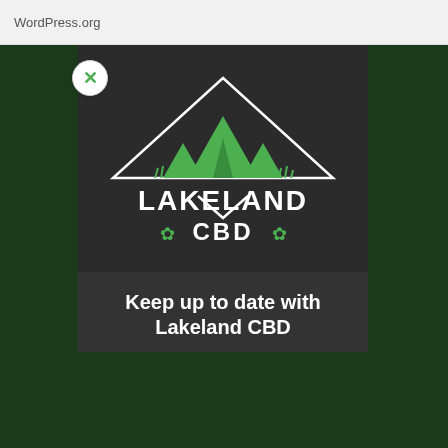WordPress.org
[Figure (logo): Lakeland CBD logo on dark background — mountain peaks in green inside an inverted triangle outline, with white bold text 'LAKELAND CBD' and green cannabis leaf icons flanking 'CBD']
Keep up to date with Lakeland CBD